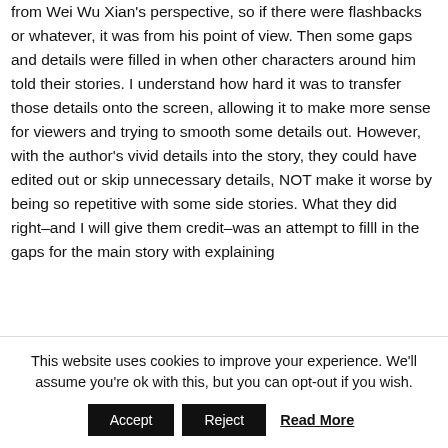from Wei Wu Xian's perspective, so if there were flashbacks or whatever, it was from his point of view. Then some gaps and details were filled in when other characters around him told their stories. I understand how hard it was to transfer those details onto the screen, allowing it to make more sense for viewers and trying to smooth some details out. However, with the author's vivid details into the story, they could have edited out or skip unnecessary details, NOT make it worse by being so repetitive with some side stories. What they did right–and I will give them credit–was an attempt to filll in the gaps for the main story with explaining
This website uses cookies to improve your experience. We'll assume you're ok with this, but you can opt-out if you wish.
Accept | Reject | Read More